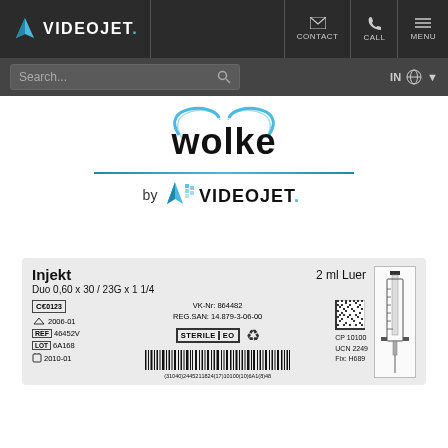[Figure (screenshot): Videojet website navigation bar with logo, CONTACT, CALL, and MENU buttons on dark background]
[Figure (screenshot): Search bar with search field and globe/IN locale selector on dark background]
[Figure (logo): Wolke by Videojet logo - stylized wolke text with blue swoosh above a blue line divider, then 'by VIDEOJET.' text below]
[Figure (photo): Medical syringe label showing: Injekt, Duo 0,60 x 30 / 23G x 1 1/4, 2 ml Luer, CE0123, VK-Nr: 864482, REG.SAN: 14.879-3-06-00, manufacturing date 2006-01, REF 46452V, STERILE EO, LOT 6A168, 2010-01, barcode, datamatrix code, syringe illustration, CP 10100, UCN 2249, Fix: H689]